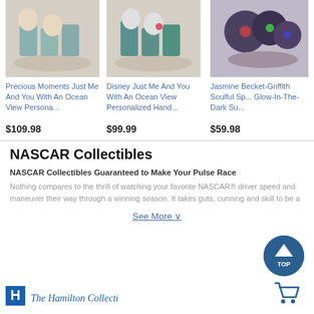[Figure (photo): Precious Moments figurine - Just Me And You With An Ocean View]
[Figure (photo): Disney Just Me And You With An Ocean View figurine with Mickey and Minnie]
[Figure (photo): Jasmine Becket-Griffith Soulful Spirit Glow-In-The-Dark skull figurine]
Precious Moments Just Me And You With An Ocean View Persona...
$109.98
Disney Just Me And You With An Ocean View Personalized Hand...
$99.99
Jasmine Becket-Griffith Soulful Sp... Glow-In-The-Dark Su...
$59.98
NASCAR Collectibles
NASCAR Collectibles Guaranteed to Make Your Pulse Race
Nothing compares to the thrill of watching your favorite NASCAR® driver speed and maneuver their way through a winning season. It takes guts, cunning and skill to be a
See More ∨
[Figure (logo): The Hamilton Collection logo - H icon and italic text]